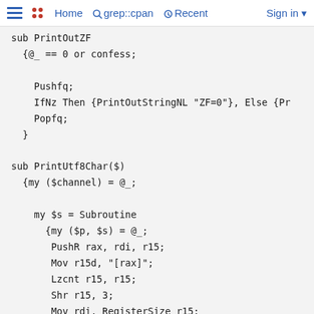Home  grep::cpan  Recent  Sign in
sub PrintOutZF
  {@_ == 0 or confess;

    Pushfq;
    IfNz Then {PrintOutStringNL "ZF=0"}, Else {Pr
    Popfq;
  }

sub PrintUtf8Char($)
  {my ($channel) = @_;

    my $s = Subroutine
      {my ($p, $s) = @_;
       PushR rax, rdi, r15;
       Mov r15d, "[rax]";
       Lzcnt r15, r15;
       Shr r15, 3;
       Mov rdi, RegisterSize r15;
       Sub rdi, r15;
       PrintMemory($channel);
       PopR;